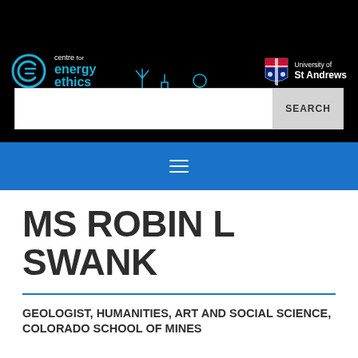[Figure (logo): Centre for Energy Ethics logo with circular 'e' icon in blue, text reading 'centre for energy ethics', decorative energy skyline illustration, and University of St Andrews logo with shield crest]
[Figure (screenshot): Search bar with white input field and grey SEARCH button]
[Figure (other): Blue navigation bar with white hamburger menu icon (three horizontal lines)]
MS ROBIN L SWANK
GEOLOGIST, HUMANITIES, ART AND SOCIAL SCIENCE, COLORADO SCHOOL OF MINES